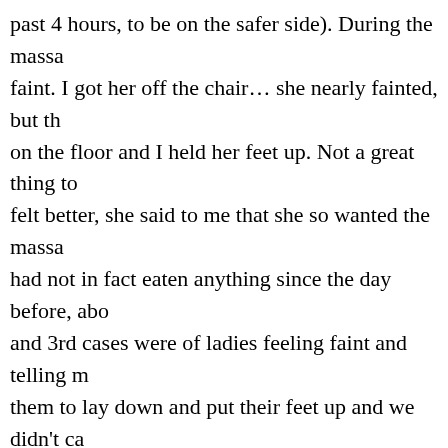past 4 hours, to be on the safer side). During the massa… faint. I got her off the chair… she nearly fainted, but th… on the floor and I held her feet up. Not a great thing to … felt better, she said to me that she so wanted the massa… had not in fact eaten anything since the day before, abo… and 3rd cases were of ladies feeling faint and telling m… them to lay down and put their feet up and we didn't ca… obvious had come up during the screeing and they assu… in the previous 4 hours. One of them has since had epis… during a massage!), so perhaps she is prone to it. The fi… year ago. I was offering chair massage in the workplace… time and I did the usual screening. When I asked about … that she had fainted in the past, but had not fainted for a… would be ok. I decided to go ahead with the massage a… ok. When it came to the very end, when I was doing the… a very big lady, so I couldn't help her off the chair and … anyway. Fortunately, this workplace was a health centr… help in the corridor, I found a doctor and then a nurse c… off the chair and onto the floor. She drifted in and out…